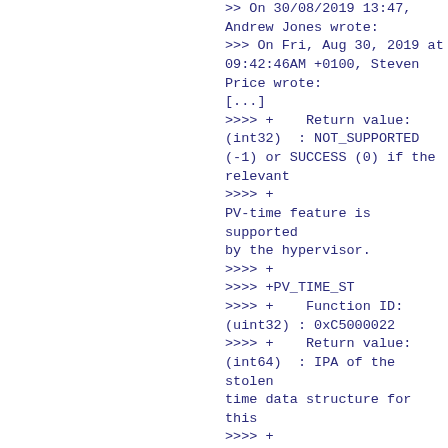>> On 30/08/2019 13:47, Andrew Jones wrote:
>>> On Fri, Aug 30, 2019 at 09:42:46AM +0100, Steven Price wrote:
[...]
>>>> +    Return value: (int32)  : NOT_SUPPORTED (-1) or SUCCESS (0) if the relevant
>>>> +
PV-time feature is supported by the hypervisor.
>>>> +
>>>> +PV_TIME_ST
>>>> +    Function ID: (uint32) : 0xC5000022
>>>> +    Return value: (int64)  : IPA of the stolen time data structure for this
>>>> +
VCPU. On failure:
>>>> +
NOT_SUPPORTED (-1)
>>>> +
>>>> +The IPA returned by PV_TIME_ST should be mapped by the guest as normal memory
>>>> +with inner and outer write back caching